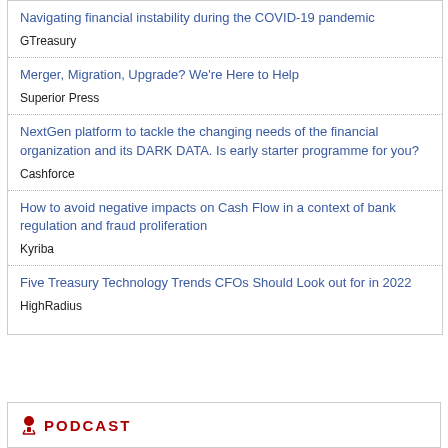Navigating financial instability during the COVID-19 pandemic
GTreasury
Merger, Migration, Upgrade? We're Here to Help
Superior Press
NextGen platform to tackle the changing needs of the financial organization and its DARK DATA. Is early starter programme for you?
Cashforce
How to avoid negative impacts on Cash Flow in a context of bank regulation and fraud proliferation
Kyriba
Five Treasury Technology Trends CFOs Should Look out for in 2022
HighRadius
PODCAST